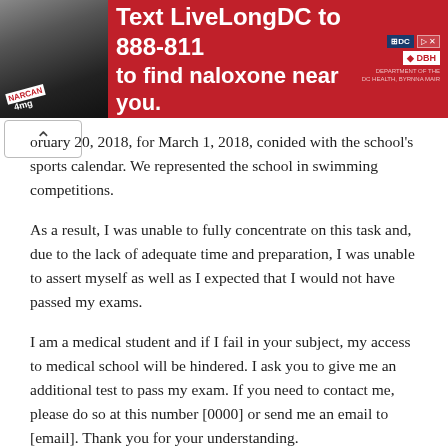[Figure (infographic): Red advertisement banner: Text LiveLongDC to 888-811 to find naloxone near you. DC government health department logos on right.]
oruary 20, 2018, for March 1, 2018, conided with the school's sports calendar. We represented the school in swimming competitions.
As a result, I was unable to fully concentrate on this task and, due to the lack of adequate time and preparation, I was unable to assert myself as well as I expected that I would not have passed my exams.
I am a medical student and if I fail in your subject, my access to medical school will be hindered. I ask you to give me an additional test to pass my exam. If you need to contact me, please do so at this number [0000] or send me an email to [email]. Thank you for your understanding.
Sincerely,